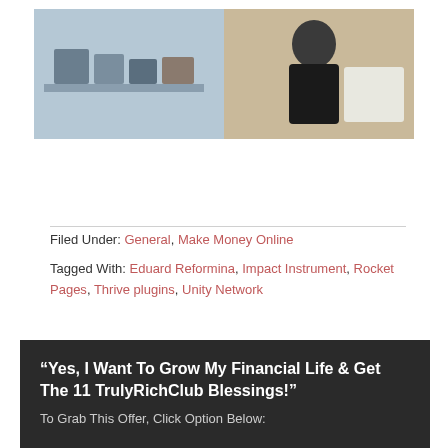[Figure (photo): A person at what appears to be a market or fair stall, making a thumbs up gesture, wearing a black shirt, with various products/signs visible on a table in the background.]
Filed Under: General, Make Money Online
Tagged With: Eduard Reformina, Impact Instrument, Rocket Pages, Thrive plugins, Unity Network
“Yes, I Want To Grow My Financial Life & Get The 11 TrulyRichClub Blessings!”
To Grab This Offer, Click Option Below: